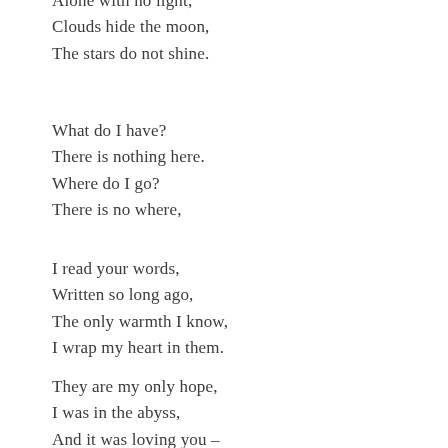Alone with no light,
Clouds hide the moon,
The stars do not shine.
What do I have?
There is nothing here.
Where do I go?
There is no where,
I read your words,
Written so long ago,
The only warmth I know,
I wrap my heart in them.
They are my only hope,
I was in the abyss,
And it was loving you –
That guided me out.